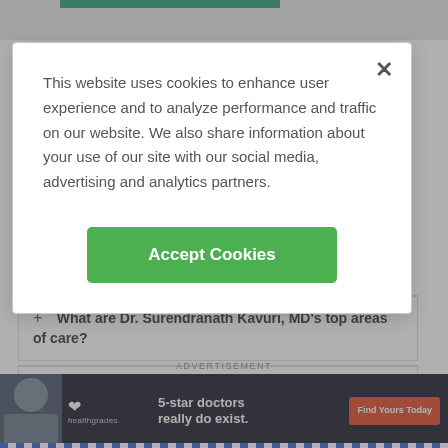[Figure (screenshot): Green bar at top of page, part of a medical website header]
nearby?
+ What are Dr. Surendranath Kavuri, MD's top areas of care?
+ Where is Dr. Surendranath Kavuri, MD's of
ADVERTISEMENT
[Figure (advertisement): Healthgrades advertisement: 5-star doctors really do exist. Find Yours Today]
This website uses cookies to enhance user experience and to analyze performance and traffic on our website. We also share information about your use of our site with our social media, advertising and analytics partners.
Accept Cookies